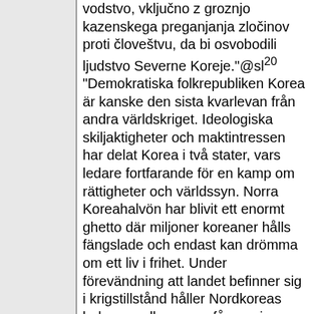vodstvo, vključno z groznjo kazenskega preganjanja zločinov proti človeštvu, da bi osvobodili ljudstvo Severne Koreje."@sl20 "Demokratiska folkrepubliken Korea är kanske den sista kvarlevan från andra världskriget. Ideologiska skiljaktigheter och maktintressen har delat Korea i två stater, vars ledare fortfarande för en kamp om rättigheter och världssyn. Norra Koreahalvön har blivit ett enormt ghetto där miljoner koreaner hålls fängslade och endast kan drömma om ett liv i frihet. Under förevändning att landet befinner sig i krigstillstånd håller Nordkoreas ledare medborgarna fångna i en militärregim. Hur kan vi hjälpa koreanerna i denna situation? Genom att stormakterna gör en gemensam insats. Det var stormakterna som splittrade Korea, så nu måste de samarbeta